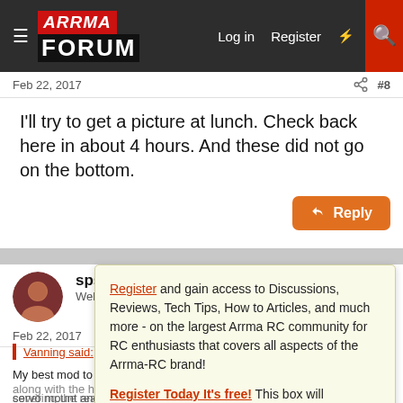ARRMA FORUM — Log in | Register
Feb 22, 2017   #8
I'll try to get a picture at lunch. Check back here in about 4 hours. And these did not go on the bottom.
sps468
Well-Know...
Feb 22, 2017   #9
Vanning said: ↑
My best mod to m...
Register and gain access to Discussions, Reviews, Tech Tips, How to Articles, and much more - on the largest Arrma RC community for RC enthusiasts that covers all aspects of the Arrma-RC brand!

Register Today It's free! This box will disappear once registered!